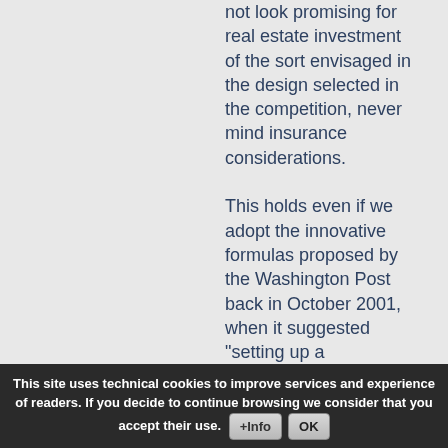not look promising for real estate investment of the sort envisaged in the design selected in the competition, never mind insurance considerations.

This holds even if we adopt the innovative formulas proposed by the Washington Post back in October 2001, when it suggested "setting up a government-backed terrorism pool into which all insurers would pay, thus spreading the risk of future attacks among the industry and among
This site uses technical cookies to improve services and experience of readers. If you decide to continue browsing we consider that you accept their use. [+Info] [OK]